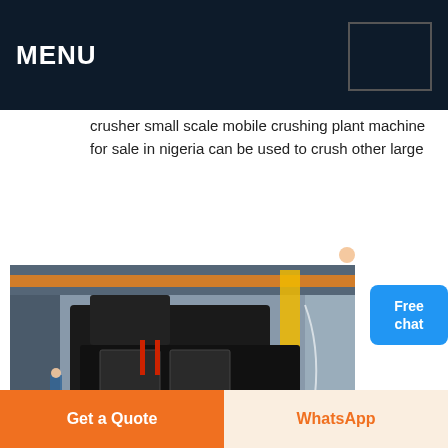MENU
crusher small scale mobile crushing plant machine for sale in nigeria can be used to crush other large
Get Price
Free chat
[Figure (photo): Large industrial impact crusher machine in a factory/warehouse setting with orange crane beams visible in the background]
small scale gold
Get a Quote
WhatsApp